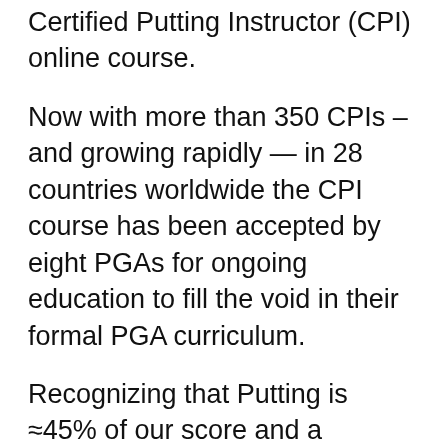Certified Putting Instructor (CPI) online course.
Now with more than 350 CPIs – and growing rapidly — in 28 countries worldwide the CPI course has been accepted by eight PGAs for ongoing education to fill the void in their formal PGA curriculum.
Recognizing that Putting is ≈45% of our score and a microcosm of the game itself, professional instructors have now focused their attention on this very important part of the game, not only to help their own putting but more importantly help them become better teachers utilizing the club's existing infrastructure. Everyone can putt better and every course has a practice putting green.